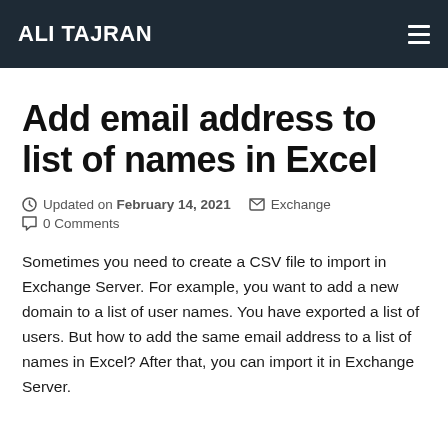ALI TAJRAN
Add email address to list of names in Excel
Updated on February 14, 2021  Exchange  0 Comments
Sometimes you need to create a CSV file to import in Exchange Server. For example, you want to add a new domain to a list of user names. You have exported a list of users. But how to add the same email address to a list of names in Excel? After that, you can import it in Exchange Server.